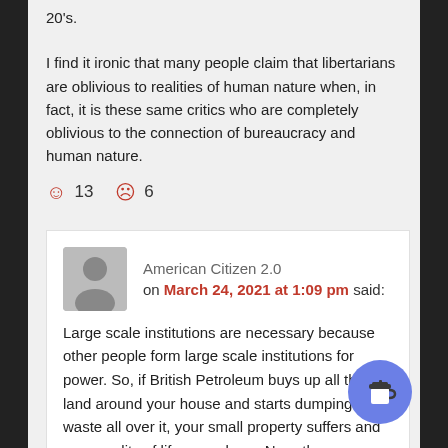20's.
I find it ironic that many people claim that libertarians are oblivious to realities of human nature when, in fact, it is these same critics who are completely oblivious to the connection of bureaucracy and human nature.
☺ 13   ☹ 6
American Citizen 2.0
on March 24, 2021 at 1:09 pm said:
Large scale institutions are necessary because other people form large scale institutions for power. So, if British Petroleum buys up all the land around your house and starts dumping toxic waste all over it, your small property suffers and your quality of life goes down. Now, the